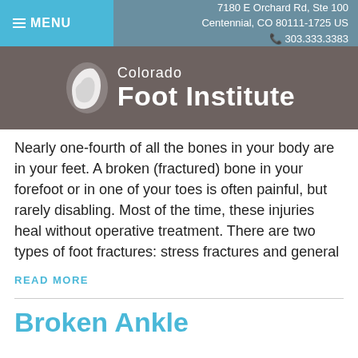MENU | 7180 E Orchard Rd, Ste 100 Centennial, CO 80111-1725 US | 303.333.3383
[Figure (logo): Colorado Foot Institute logo with foot icon on dark brown/grey background]
Nearly one-fourth of all the bones in your body are in your feet. A broken (fractured) bone in your forefoot or in one of your toes is often painful, but rarely disabling. Most of the time, these injuries heal without operative treatment. There are two types of foot fractures: stress fractures and general
READ MORE
Broken Ankle